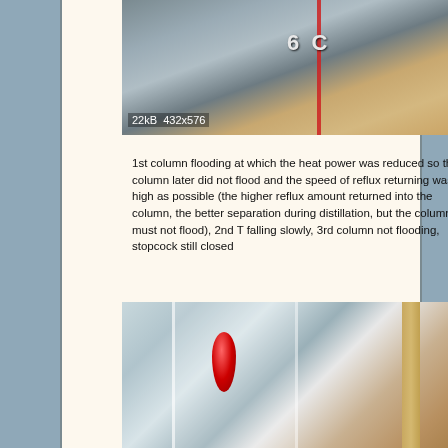[Figure (photo): Close-up photograph of distillation/reflux column equipment showing a thermometer or measurement scale with number 6 visible, and a red indicator line. Image metadata shows 22kB 432x576.]
1st column flooding at which the heat power was reduced so the column later did not flood and the speed of reflux returning was as high as possible (the higher reflux amount returned into the column, the better separation during distillation, but the column must not flood), 2nd T falling slowly, 3rd column not flooding, stopcock still closed
[Figure (photo): Close-up photograph of a glass distillation column showing a red-colored hydrometer or thermometer bulb inside a clear glass tube, with a wooden support visible on the right.]